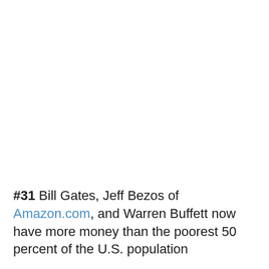#31 Bill Gates, Jeff Bezos of Amazon.com, and Warren Buffett now have more money than the poorest 50 percent of the U.S. population